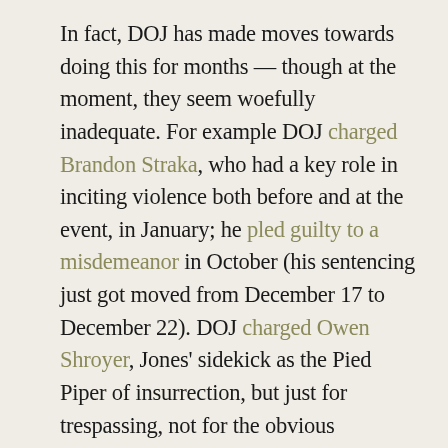In fact, DOJ has made moves towards doing this for months — though at the moment, they seem woefully inadequate. For example DOJ charged Brandon Straka, who had a key role in inciting violence both before and at the event, in January; he pled guilty to a misdemeanor in October (his sentencing just got moved from December 17 to December 22). DOJ charged Owen Shroyer, Jones' sidekick as the Pied Piper of insurrection, but just for trespassing, not for the obvious incitement he and Jones did. The one case where DOJ has already moved to hold someone accountable for his role in inciting violence is Russell Taylor, who was charged in the 3%er conspiracy, but that conspiracy indictment will test DOJ's ability to hold those who incited violence accountable.